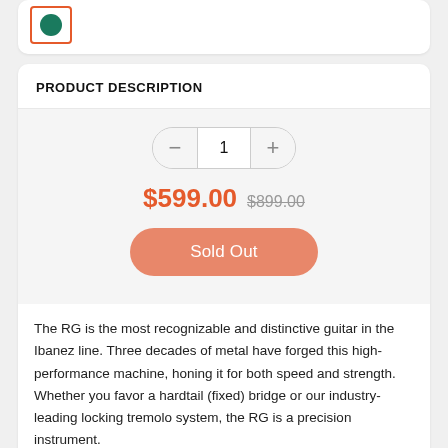[Figure (photo): Small product thumbnail image showing a green circular item inside an orange-bordered box]
PRODUCT DESCRIPTION
1 (quantity selector with minus and plus buttons)
$599.00  $899.00
Sold Out
The RG is the most recognizable and distinctive guitar in the Ibanez line. Three decades of metal have forged this high-performance machine, honing it for both speed and strength. Whether you favor a hardtail (fixed) bridge or our industry-leading locking tremolo system, the RG is a precision instrument.